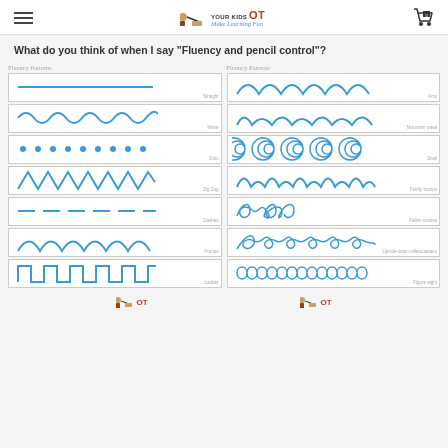Your Kids OT - Make Learning Fun
What do you think of when I say "Fluency and pencil control"?
[Figure (illustration): Two sets of fluency pattern worksheets side by side, each showing 7 rows of different pencil tracing patterns in blue: straight lines, waves, dots, zig-zag, dashed lines, arches, ladders on the left; arches, mountain waves, spirals, pointed waves, curls, loops, figure-eights on the right. Each labeled 'Fluency Patterns' at top.]
Your Kids OT logo (x2)